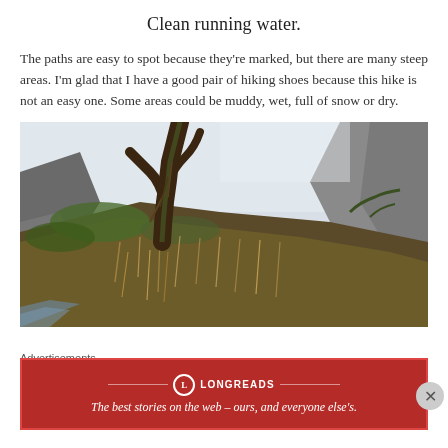Clean running water.
The paths are easy to spot because they're marked, but there are many steep areas. I'm glad that I have a good pair of hiking shoes because this hike is not an easy one. Some areas could be muddy, wet, full of snow or dry.
[Figure (photo): Outdoor wilderness photo showing a steep hillside with a gnarled tree, mossy rocks, dry grass, and misty sky in the background. A trail or stream is visible at the bottom.]
Advertisements
[Figure (logo): Longreads advertisement banner: red background with white border, Longreads circular logo, and tagline 'The best stories on the web – ours, and everyone else's.']